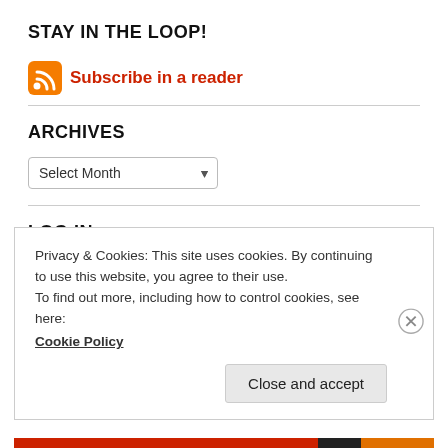STAY IN THE LOOP!
[Figure (logo): RSS feed icon (orange square with white wifi/broadcast symbol) next to red text 'Subscribe in a reader']
ARCHIVES
Select Month (dropdown)
LOG IN
Privacy & Cookies: This site uses cookies. By continuing to use this website, you agree to their use.
To find out more, including how to control cookies, see here:
Cookie Policy
Close and accept